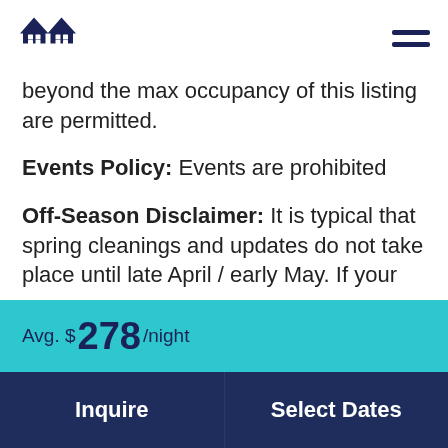[Logo: two house icons] [Hamburger menu]
beyond the max occupancy of this listing are permitted.
Events Policy: Events are prohibited
Off-Season Disclaimer: It is typical that spring cleanings and updates do not take place until late April / early May. If your
Avg. $278/night
Inquire   Select Dates